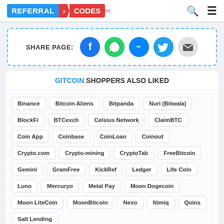REFERRAL CODES
[Figure (infographic): Share page section with social media buttons: Facebook, WhatsApp, Messenger, Twitter, Email]
GITCOIN SHOPPERS ALSO LIKED
Binance
Bitcoin Aliens
Bitpanda
Nuri (Bitwala)
BlockFi
BTCexch
Celsius Network
ClaimBTC
Coin App
Coinbase
CoinLoan
Coinout
Crypto.com
Crypto-mining
CryptoTab
FreeBitcoin
Gemini
GramFree
KickRef
Ledger
Life Coin
Luno
Mercuryo
Metal Pay
Moon Dogecoin
Moon LiteCoin
MoonBitcoin
Nexo
Nimiq
Qoins
Salt Lending